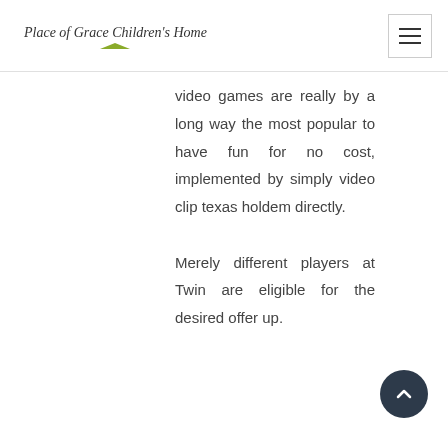Place of Grace Children's Home
video games are really by a long way the most popular to have fun for no cost, implemented by simply video clip texas holdem directly.

Merely different players at Twin are eligible for the desired offer up.